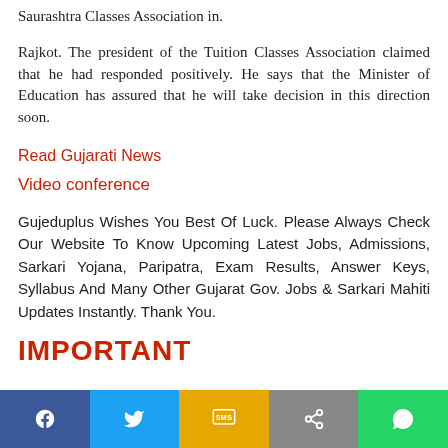Saurashtra Classes Association in.
Rajkot. The president of the Tuition Classes Association claimed that he had responded positively. He says that the Minister of Education has assured that he will take decision in this direction soon.
Read Gujarati News
Video conference
Gujeduplus Wishes You Best Of Luck. Please Always Check Our Website To Know Upcoming Latest Jobs, Admissions, Sarkari Yojana, Paripatra, Exam Results, Answer Keys, Syllabus And Many Other Gujarat Gov. Jobs & Sarkari Mahiti Updates Instantly. Thank You.
Facebook | Twitter | SMS | Share | WhatsApp